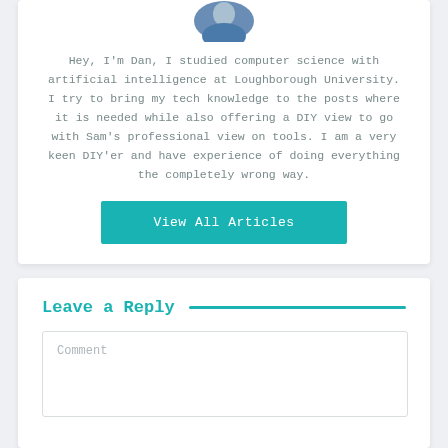[Figure (photo): Circular avatar photo of Dan, a person wearing blue clothing, partially cropped at the top of the card]
Hey, I'm Dan, I studied computer science with artificial intelligence at Loughborough University. I try to bring my tech knowledge to the posts where it is needed while also offering a DIY view to go with Sam's professional view on tools. I am a very keen DIY'er and have experience of doing everything the completely wrong way.
View All Articles
Leave a Reply
Comment